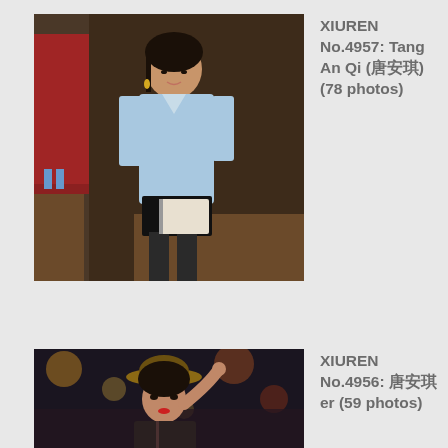[Figure (photo): Young Asian woman in a light blue shirt and black leather shorts with stockings, holding a book, standing indoors near a wooden counter]
XIUREN No.4957: Tang An Qi (唐安琪) (78 photos)
[Figure (photo): Young woman in stylish outfit raising her hand, photographed in a blurred urban night setting]
XIUREN No.4956: 唐安琪er (59 photos)